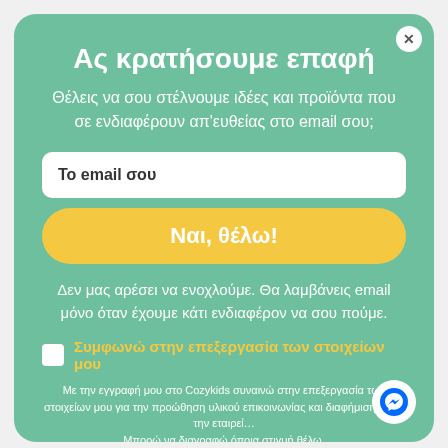Ας κρατήσουμε επαφή
Θέλεις να σου στέλνουμε ιδέες και προϊόντα που σε ενδιαφέρουν απ'ευθείας στο email σου;
Το email σου
Ναι, θέλω!
Δεν μας αρέσει να ενοχλούμε. Θα λαμβάνεις email μόνο όταν έχουμε κάτι ενδιαφέρον να σου πούμε.
Συμφωνώ στην επεξεργασία των στοιχείων μου
Με την εγγραφή μου στο Cozykids συναινώ στην επεξεργασία των στοιχείων μου για την προώθηση υλικού επικοινωνίας και διαφήμισης από την εταιρεία. Μπορώ να διαγραφώ όποια στιγμή θέλω.